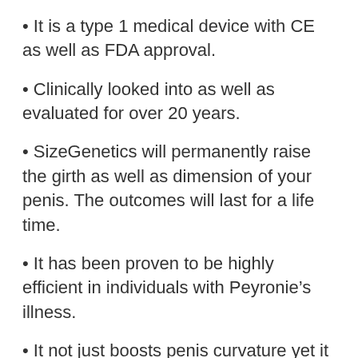It is a type 1 medical device with CE as well as FDA approval.
Clinically looked into as well as evaluated for over 20 years.
SizeGenetics will permanently raise the girth as well as dimension of your penis. The outcomes will last for a life time.
It has been proven to be highly efficient in individuals with Peyronie’s illness.
It not just boosts penis curvature yet it aids to treat impotence.
This product is easy to use, light-weight, and resilient.